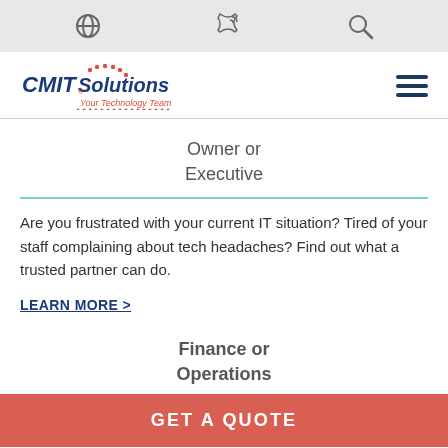[Navigation bar with globe, phone, and search icons]
[Figure (logo): CMIT Solutions logo with tagline 'Your Technology Team']
Owner or Executive
Are you frustrated with your current IT situation? Tired of your staff complaining about tech headaches? Find out what a trusted partner can do.
LEARN MORE >
Finance or Operations
GET A QUOTE
Want to bring costs under control or get the support